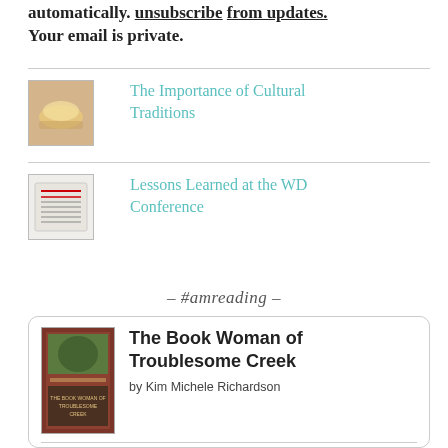Your email is private.
[Figure (photo): Thumbnail image of food/cultural traditions scene]
The Importance of Cultural Traditions
[Figure (photo): Thumbnail image related to WD Conference / book pages]
Lessons Learned at the WD Conference
- #amreading -
[Figure (photo): Book cover of The Book Woman of Troublesome Creek by Kim Michele Richardson]
The Book Woman of Troublesome Creek
by Kim Michele Richardson
[Figure (logo): Goodreads logo]